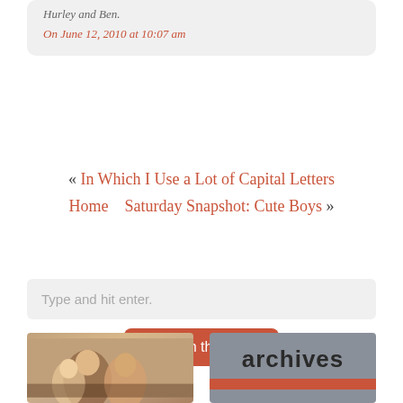Hurley and Ben.
On June 12, 2010 at 10:07 am
« In Which I Use a Lot of Capital Letters
Home    Saturday Snapshot: Cute Boys »
Type and hit enter.
Search this Site
[Figure (photo): Photo of people, appears to be women smiling]
[Figure (other): Archives banner with gray background and red bar at bottom]